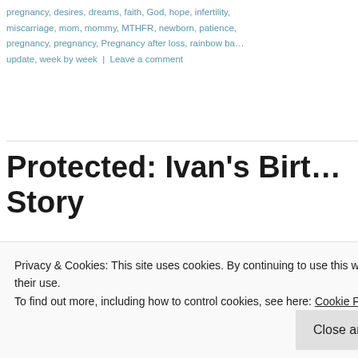pregnancy, desires, dreams, faith, God, hope, infertility, miscarriage, mom, mommy, MTHFR, newborn, patience, pregnancy, pregnancy, Pregnancy after loss, rainbow ba... update, week by week | Leave a comment
Protected: Ivan's Birth Story
POSTED ON AUGUST 11, 2015
[Figure (photo): Thumbnail image, dark warm tones showing hands]
There is no excerpt becau... protected post.
Privacy & Cookies: This site uses cookies. By continuing to use this website, you agree to their use.
To find out more, including how to control cookies, see here: Cookie Policy
Close and accept
pregnant, rainbow baby,